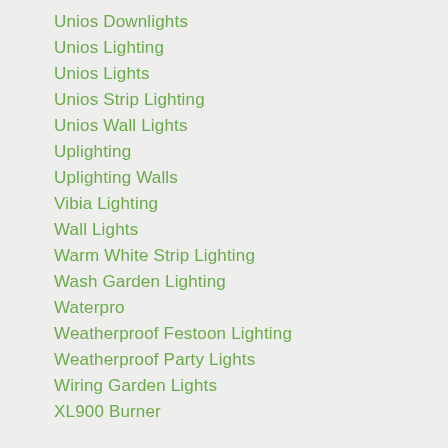Unios Downlights
Unios Lighting
Unios Lights
Unios Strip Lighting
Unios Wall Lights
Uplighting
Uplighting Walls
Vibia Lighting
Wall Lights
Warm White Strip Lighting
Wash Garden Lighting
Waterpro
Weatherproof Festoon Lighting
Weatherproof Party Lights
Wiring Garden Lights
XL900 Burner